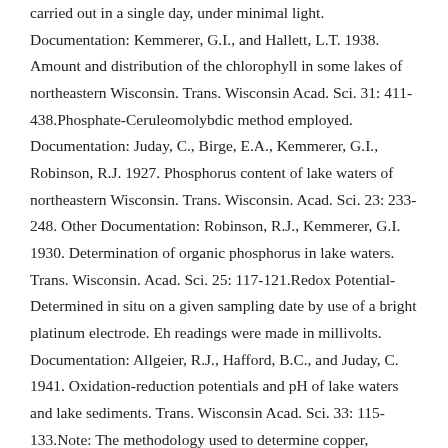carried out in a single day, under minimal light. Documentation: Kemmerer, G.I., and Hallett, L.T. 1938. Amount and distribution of the chlorophyll in some lakes of northeastern Wisconsin. Trans. Wisconsin Acad. Sci. 31: 411-438.Phosphate-Ceruleomolybdic method employed. Documentation: Juday, C., Birge, E.A., Kemmerer, G.I., Robinson, R.J. 1927. Phosphorus content of lake waters of northeastern Wisconsin. Trans. Wisconsin. Acad. Sci. 23: 233-248. Other Documentation: Robinson, R.J., Kemmerer, G.I. 1930. Determination of organic phosphorus in lake waters. Trans. Wisconsin. Acad. Sci. 25: 117-121.Redox Potential- Determined in situ on a given sampling date by use of a bright platinum electrode. Eh readings were made in millivolts. Documentation: Allgeier, R.J., Hafford, B.C., and Juday, C. 1941. Oxidation-reduction potentials and pH of lake waters and lake sediments. Trans. Wisconsin Acad. Sci. 33: 115-133.Note: The methodology used to determine copper, aluminum, boron, and hydrogen sulfide could not be determined.